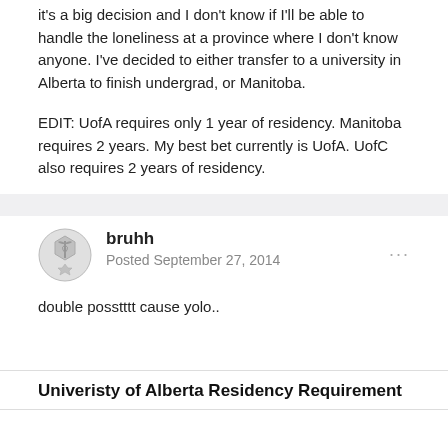it's a big decision and I don't know if I'll be able to handle the loneliness at a province where I don't know anyone. I've decided to either transfer to a university in Alberta to finish undergrad, or Manitoba.
EDIT: UofA requires only 1 year of residency. Manitoba requires 2 years. My best bet currently is UofA. UofC also requires 2 years of residency.
bruhh
Posted September 27, 2014
double posstttt cause yolo..
Univeristy of Alberta Residency Requirement